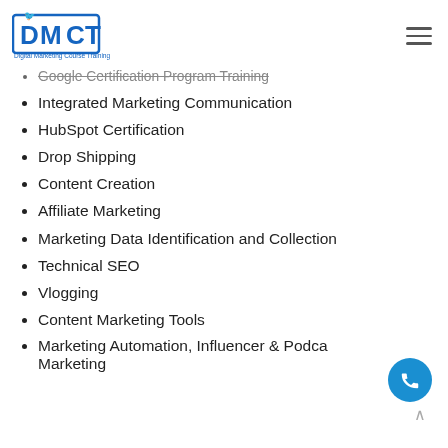[Figure (logo): DMCT Digital Marketing Course Training logo]
Google Certification Program Training
Integrated Marketing Communication
HubSpot Certification
Drop Shipping
Content Creation
Affiliate Marketing
Marketing Data Identification and Collection
Technical SEO
Vlogging
Content Marketing Tools
Marketing Automation, Influencer & Podcast Marketing